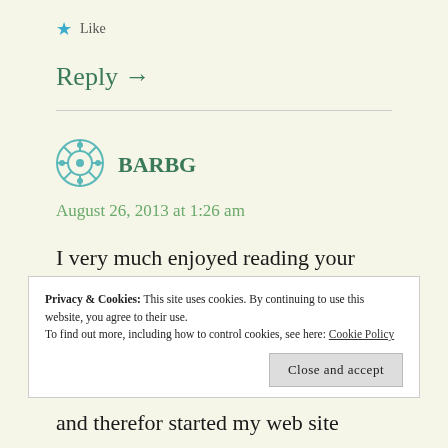[Figure (other): Blue star icon for Like button]
Like
Reply →
[Figure (other): Teal geometric avatar icon for user BARBG]
BARBG
August 26, 2013 at 1:26 am
I very much enjoyed reading your
Privacy & Cookies: This site uses cookies. By continuing to use this website, you agree to their use.
To find out more, including how to control cookies, see here: Cookie Policy
Close and accept
and therefor started my web site